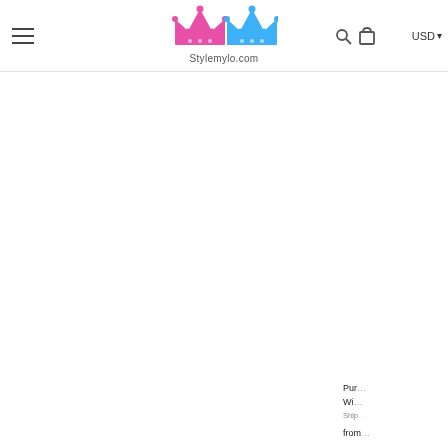[Figure (logo): Stylemylo.com logo with pink and blue crowns]
USD ▾
Purchased With
Shipping from